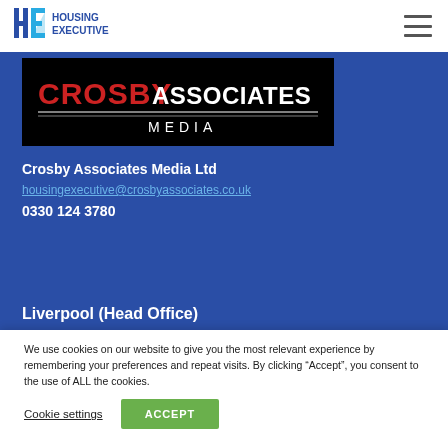[Figure (logo): Housing Executive logo with 'HE' letters in blue and teal, with 'HOUSING EXECUTIVE' text]
[Figure (logo): Crosby Associates Media logo on black background with red and white text]
Crosby Associates Media Ltd
housingexecutive@crosbyassociates.co.uk
0330 124 3780
Liverpool (Head Office)
We use cookies on our website to give you the most relevant experience by remembering your preferences and repeat visits. By clicking “Accept”, you consent to the use of ALL the cookies.
Cookie settings
ACCEPT